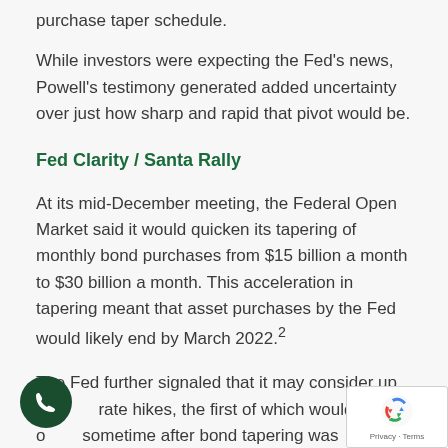purchase taper schedule.
While investors were expecting the Fed's news, Powell's testimony generated added uncertainty over just how sharp and rapid that pivot would be.
Fed Clarity / Santa Rally
At its mid-December meeting, the Federal Open Market said it would quicken its tapering of monthly bond purchases from $15 billion a month to $30 billion a month. This acceleration in tapering meant that asset purchases by the Fed would likely end by March 2022.²
The Fed further signaled that it may consider up to three rate hikes, the first of which would likely occur sometime after bond tapering was completed.²